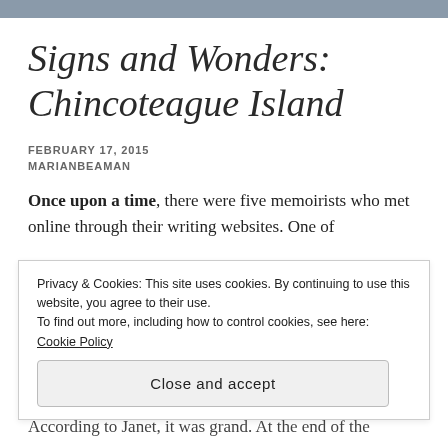Signs and Wonders: Chincoteague Island
FEBRUARY 17, 2015
MARIANBEAMAN
Once upon a time, there were five memoirists who met online through their writing websites. One of them...
Privacy & Cookies: This site uses cookies. By continuing to use this website, you agree to their use.
To find out more, including how to control cookies, see here: Cookie Policy
Close and accept
According to Janet, it was grand. At the end of the